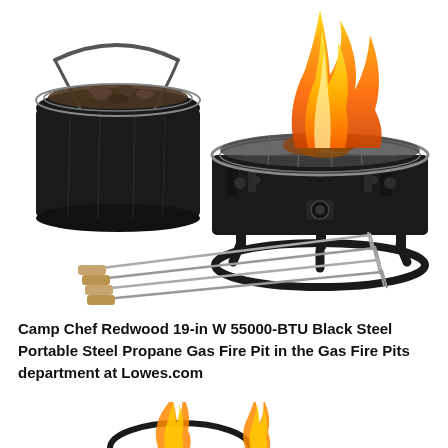[Figure (photo): Product photo showing a Camp Chef Redwood portable propane gas fire pit (black steel bowl on circular stand with knob control), a black carry bag with rocks/lava media, and four roasting/skewer forks with wood handles arranged in front.]
Camp Chef Redwood 19-in W 55000-BTU Black Steel Portable Steel Propane Gas Fire Pit in the Gas Fire Pits department at Lowes.com
[Figure (photo): Bottom portion of a second fire pit or flames, partially visible at the bottom of the page.]